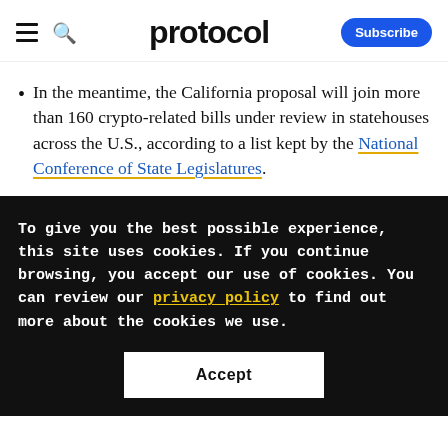protocol
In the meantime, the California proposal will join more than 160 crypto-related bills under review in statehouses across the U.S., according to a list kept by the National Conference of State Legislatures.
To give you the best possible experience, this site uses cookies. If you continue browsing, you accept our use of cookies. You can review our privacy policy to find out more about the cookies we use.
Accept